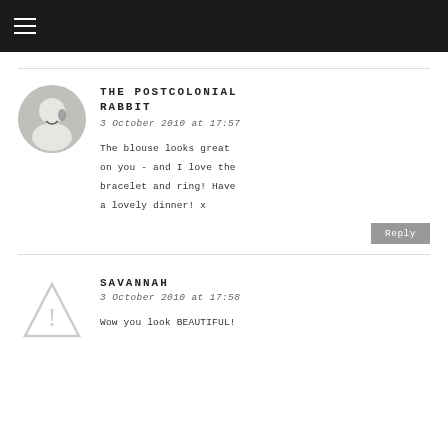≡
THE POSTCOLONIAL RABBIT
3 October 2010 at 17:57
The blouse looks great on you - and I love the bracelet and ring! Have a lovely dinner! x
Reply
SAVANNAH
3 October 2010 at 17:58
Wow you look BEAUTIFUL!